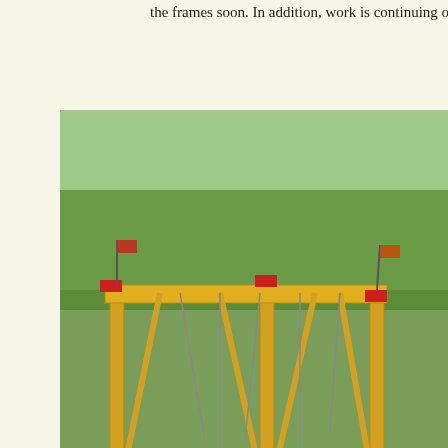the frames soon. In addition, work is continuing on the cano...
[Figure (photo): Outdoor fairground scene with a large yellow and red swing ride frame decorated with flags, surrounded by crowds of people on a grassy field with trees in the background. A striped tent and other fairground attractions are visible.]
[Figure (photo): Interior workshop or depot scene showing what appears to be a locomotive or large vehicle under restoration, with industrial ceiling structure visible above.]